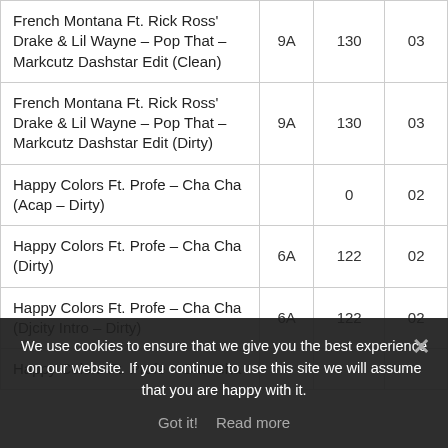| Track | Key | BPM | Min |
| --- | --- | --- | --- |
| French Montana Ft. Rick Ross' Drake & Lil Wayne – Pop That – Markcutz Dashstar Edit (Clean) | 9A | 130 | 03 |
| French Montana Ft. Rick Ross' Drake & Lil Wayne – Pop That – Markcutz Dashstar Edit (Dirty) | 9A | 130 | 03 |
| Happy Colors Ft. Profe – Cha Cha (Acap – Dirty) |  | 0 | 02 |
| Happy Colors Ft. Profe – Cha Cha (Dirty) | 6A | 122 | 02 |
| Happy Colors Ft. Profe – Cha Cha (Djcity Intro – Dirty) | 6A | 122 | 02 |
| Happy Colors Ft. Profe – Cha Cha (Inst) | 6A | 122 | 02 |
| Interplanetary |  | 125 |  |
| Hotel Conafa & King Interplanetary (Clean) |  | 125 |  |
We use cookies to ensure that we give you the best experience on our website. If you continue to use this site we will assume that you are happy with it.